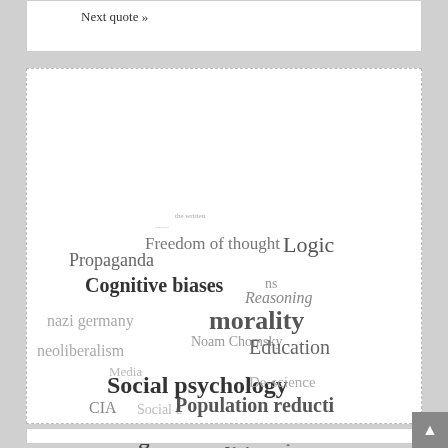Next quote »
[Figure (infographic): A word cloud containing terms related to critical thinking, propaganda, social psychology, and related fields. Terms include: Propaganda, Freedom of thought, Logic, Cognitive biases, Reasoning, nazi germany, morality, Noam Chomsky, neoliberalism, Education, Social psychology, De-science, CIA, Population reduction, Metacognition, Deception, freedom of speech, elitism, distinction, psycholinguistics, Persuasion, Consens, Argumentation, Rhetoric]